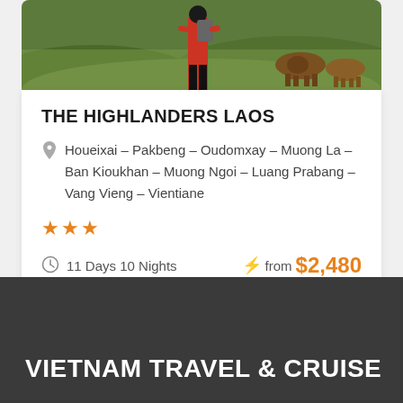[Figure (photo): Photo of a person with backpack and cattle in a green highland landscape]
THE HIGHLANDERS LAOS
Houeixai – Pakbeng – Oudomxay – Muong La – Ban Kioukhan – Muong Ngoi – Luang Prabang – Vang Vieng – Vientiane
★★★
11 Days 10 Nights  from $2,480
VIETNAM TRAVEL & CRUISE